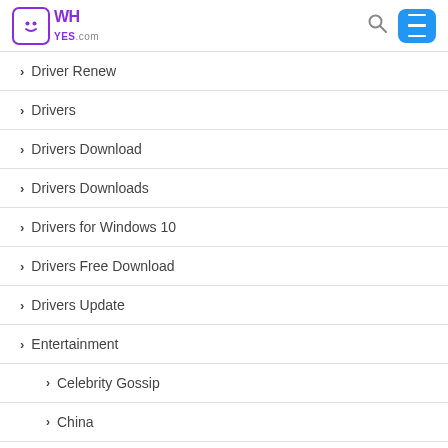WHYES.com
Driver Renew
Drivers
Drivers Download
Drivers Downloads
Drivers for Windows 10
Drivers Free Download
Drivers Update
Entertainment
Celebrity Gossip
China